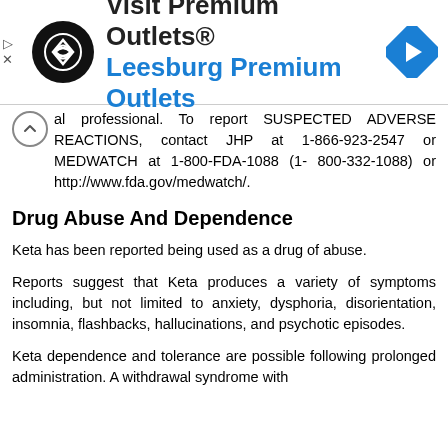[Figure (other): Advertisement banner: Visit Premium Outlets® Leesburg Premium Outlets, with a circular black logo with arrows and a blue diamond navigation icon on the right.]
al professional. To report SUSPECTED ADVERSE REACTIONS, contact JHP at 1-866-923-2547 or MEDWATCH at 1-800-FDA-1088 (1- 800-332-1088) or http://www.fda.gov/medwatch/.
Drug Abuse And Dependence
Keta has been reported being used as a drug of abuse.
Reports suggest that Keta produces a variety of symptoms including, but not limited to anxiety, dysphoria, disorientation, insomnia, flashbacks, hallucinations, and psychotic episodes.
Keta dependence and tolerance are possible following prolonged administration. A withdrawal syndrome with